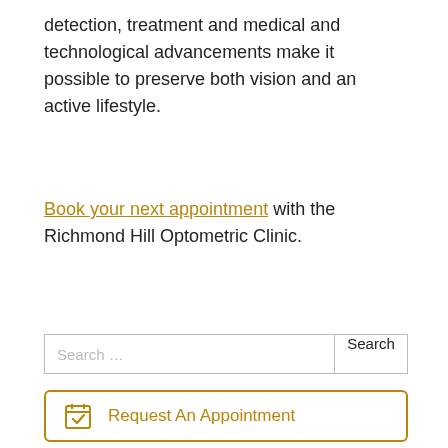detection, treatment and medical and technological advancements make it possible to preserve both vision and an active lifestyle.
Book your next appointment with the Richmond Hill Optometric Clinic.
[Figure (other): Search bar with text input and Search button]
Request An Appointment
Order Contacts Online
Patient History Form